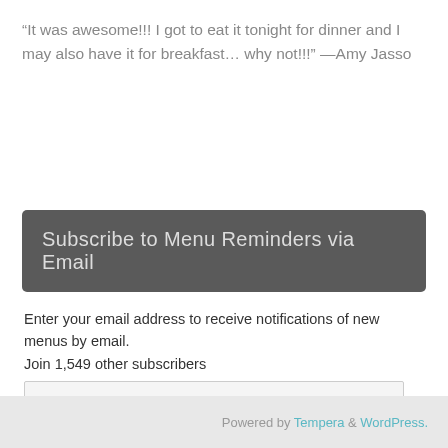“It was awesome!!! I got to eat it tonight for dinner and I may also have it for breakfast… why not!!!” —Amy Jasso
Subscribe to Menu Reminders via Email
Enter your email address to receive notifications of new menus by email.
Join 1,549 other subscribers
Powered by Tempera & WordPress.